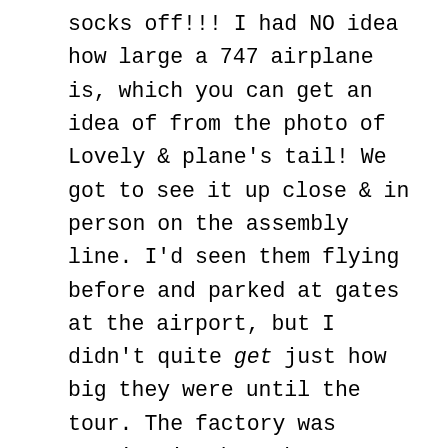socks off!!! I had NO idea how large a 747 airplane is, which you can get an idea of from the photo of Lovely & plane's tail! We got to see it up close & in person on the assembly line. I'd seen them flying before and parked at gates at the airport, but I didn't quite get just how big they were until the tour. The factory was amazing in that there are literally billions of parts around to make up each of these planes, and they crank out multiple planes a month of various kinds, 747s, 767s, 777s, and 787s! We also caught glimpses of the brand new Boeing 787 Dreamliner which you can now fly on within the U.S. and even on long haul flights. While the museum was a little underwhelming, the factory tour was a major highlight and is definitely worth checking